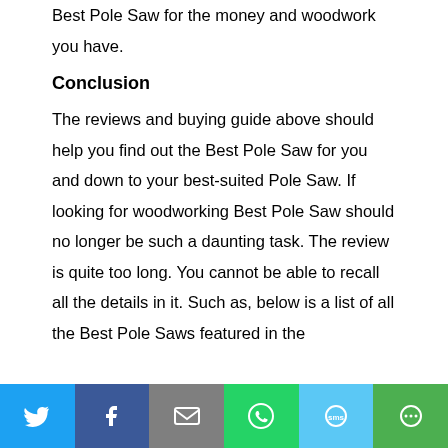Best Pole Saw for the money and woodwork you have.
Conclusion
The reviews and buying guide above should help you find out the Best Pole Saw for you and down to your best-suited Pole Saw. If looking for woodworking Best Pole Saw should no longer be such a daunting task. The review is quite too long. You cannot be able to recall all the details in it. Such as, below is a list of all the Best Pole Saws featured in the
Social share bar: Twitter, Facebook, Email, WhatsApp, SMS, More